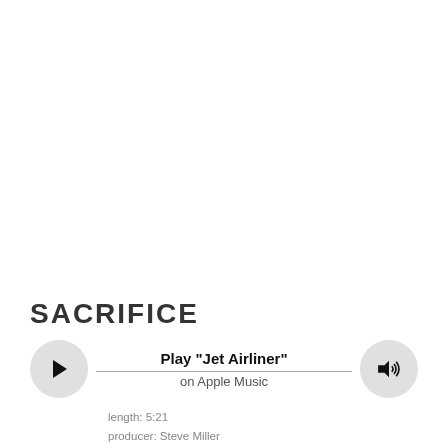SACRIFICE
[Figure (other): Apple Music player widget showing play button, 'Play "Jet Airliner" on Apple Music' text, and volume button connected by a horizontal line]
length: 5:21
producer: Steve Miller
mixer: Jim Gaines
engineer: Mike Fusaro
guest acoustic guitar: Curley Cooke